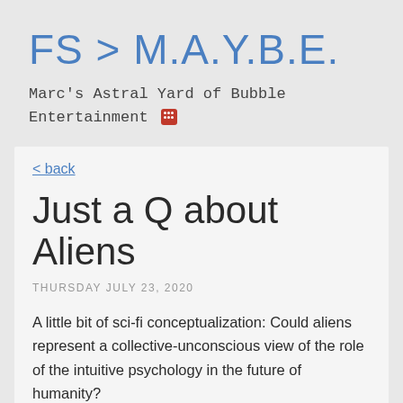FS > M.A.Y.B.E.
Marc's Astral Yard of Bubble Entertainment
< back
Just a Q about Aliens
THURSDAY JULY 23, 2020
A little bit of sci-fi conceptualization: Could aliens represent a collective-unconscious view of the role of the intuitive psychology in the future of humanity?